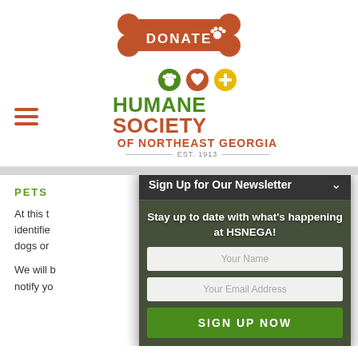[Figure (logo): Orange bone-shaped donate button with white text 'DONATE' and paw print icon]
[Figure (logo): Humane Society of Northeast Georgia logo with paw, heart, and cross icons, green and brown text, EST. 1913]
PETS
At this t... identifie... dogs or...
We will b... notify yo...
[Figure (screenshot): Newsletter signup overlay with title 'Sign Up for Our Newsletter', subtitle 'Stay up to date with what's happening at HSNEGA!', name field, email field, and 'SIGN UP NOW' button]